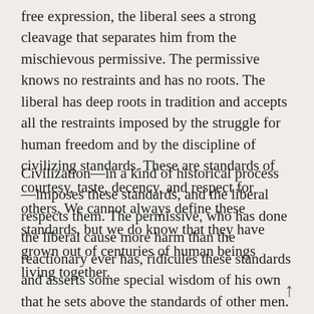free expression, the liberal sees a strong cleavage that separates him from the mischievous permissive. The permissive knows no restraints and has no roots. The liberal has deep roots in tradition and accepts all the restraints imposed by the struggle for human freedom and by the discipline of civilizing standards. These are standards of courtesy, taste, decency, and respect for others. We cannot always define these standards, but we do know that they have grown out of centuries of human beings living together.
Civilization—in a kind of historical process—imposes these standards, and the liberal respects them. The permissive, who has done the liberal cause more harm than the reactionary ever has, ridicules these standards and asserts some special wisdom of his own that he sets above the standards of other men. It is the permissive, not the liberal, who has condoned, or even promoted, that abuse